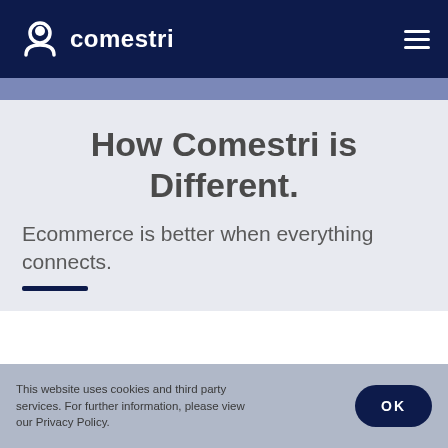comestri
How Comestri is Different.
Ecommerce is better when everything connects.
This website uses cookies and third party services. For further information, please view our Privacy Policy.